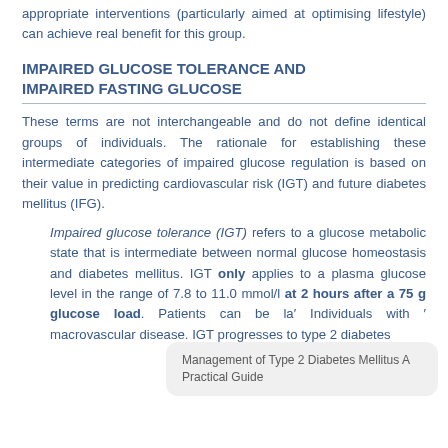appropriate interventions (particularly aimed at optimising lifestyle) can achieve real benefit for this group.
IMPAIRED GLUCOSE TOLERANCE AND IMPAIRED FASTING GLUCOSE
These terms are not interchangeable and do not define identical groups of individuals. The rationale for establishing these intermediate categories of impaired glucose regulation is based on their value in predicting cardiovascular risk (IGT) and future diabetes mellitus (IFG).
Impaired glucose tolerance (IGT) refers to a glucose metabolic state that is intermediate between normal glucose homeostasis and diabetes mellitus. IGT only applies to a plasma glucose level in the range of 7.8 to 11.0 mmol/l at 2 hours after a 75 g glucose load. Patients can be la... Individuals with ... macrovascular disease. IGT progresses to type 2 diabetes